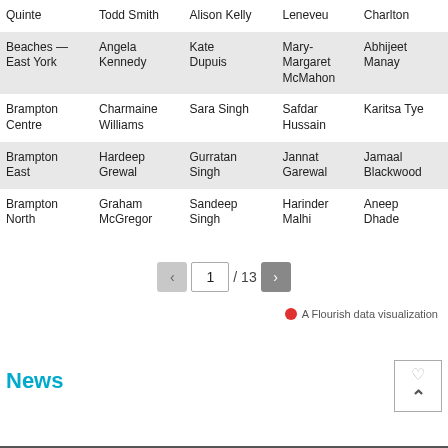|  |  |  |  |  |
| --- | --- | --- | --- | --- |
| Quinte | Todd Smith | Alison Kelly | Leneveu | Charlton |
| Beaches — East York | Angela Kennedy | Kate Dupuis | Mary-Margaret McMahon | Abhijeet Manay |
| Brampton Centre | Charmaine Williams | Sara Singh | Safdar Hussain | Karitsa Tye |
| Brampton East | Hardeep Grewal | Gurratan Singh | Jannat Garewal | Jamaal Blackwood |
| Brampton North | Graham McGregor | Sandeep Singh | Harinder Malhi | Aneep Dhade |
1 / 13
A Flourish data visualization
News